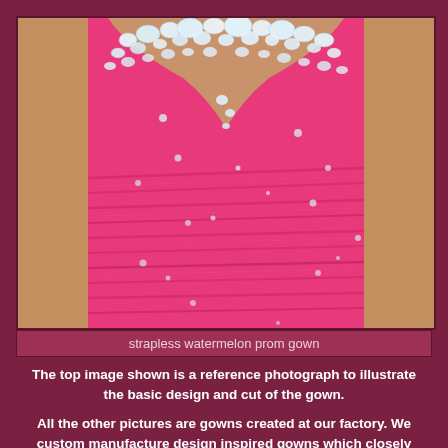[Figure (photo): Close-up photograph of a strapless hot pink/watermelon prom gown with crystal/rhinestone embellishments along the sweetheart neckline and scattered sequins across the ruched bodice. A person is wearing the gown.]
strapless watermelon prom gown
The top image shown is a reference photograph to illustrate the basic design and cut of the gown.

All the other pictures are gowns created at our factory. We custom manufacture design inspired gowns which closely resemble the photographs. Each dress is similar but not exact to the original. Every dress is custom Made according to the specifications of the buyer.